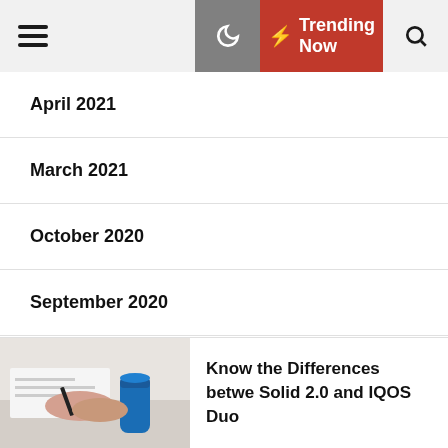☰  🌙  ⚡ Trending Now  🔍
April 2021
March 2021
October 2020
September 2020
Categories
[Figure (photo): Person writing at desk with a blue thermos or device, partial view of hands and papers — thumbnail image for article]
Know the Differences betwe Solid 2.0 and IQOS Duo